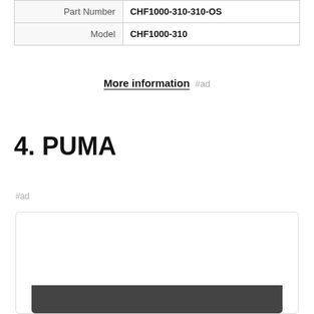| Part Number | CHF1000-310-310-OS |
| Model | CHF1000-310 |
More information #ad
4. PUMA
#ad
As an Amazon Associate I earn from qualifying purchases. This website uses the only necessary cookies to ensure you get the best experience on our website. More information